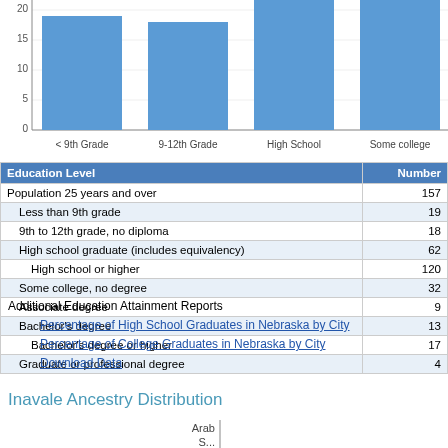[Figure (bar-chart): Education Level Distribution]
| Education Level | Number |
| --- | --- |
| Population 25 years and over | 157 |
| Less than 9th grade | 19 |
| 9th to 12th grade, no diploma | 18 |
| High school graduate (includes equivalency) | 62 |
| High school or higher | 120 |
| Some college, no degree | 32 |
| Associate degree | 9 |
| Bachelor's degree | 13 |
| Bachelor's degree or higher | 17 |
| Graduate or professional degree | 4 |
Additional Education Attainment Reports
Percentage of High School Graduates in Nebraska by City
Percentage of College Graduates in Nebraska by City
Download Data
Inavale Ancestry Distribution
[Figure (bar-chart): Partial bar chart showing ancestry distribution, Arab label visible at top]